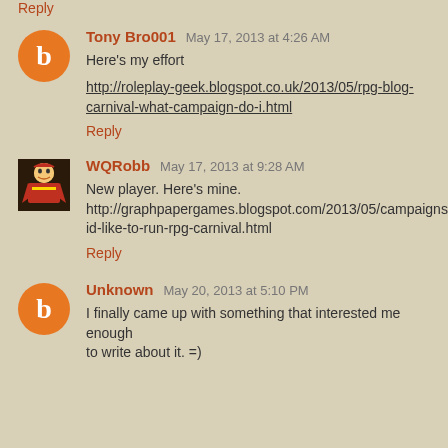Reply
Tony Bro001  May 17, 2013 at 4:26 AM
Here's my effort

http://roleplay-geek.blogspot.co.uk/2013/05/rpg-blog-carnival-what-campaign-do-i.html

Reply
WQRobb  May 17, 2013 at 9:28 AM
New player. Here's mine. http://graphpapergames.blogspot.com/2013/05/campaigns-id-like-to-run-rpg-carnival.html

Reply
Unknown  May 20, 2013 at 5:10 PM
I finally came up with something that interested me enough to write about it. =)